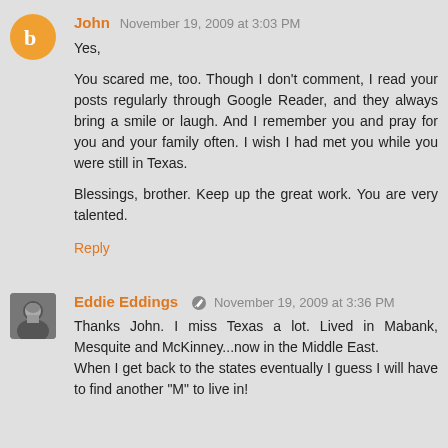[Figure (other): Orange Blogger avatar circle with 'b' logo for user John]
John  November 19, 2009 at 3:03 PM
Yes,

You scared me, too. Though I don't comment, I read your posts regularly through Google Reader, and they always bring a smile or laugh. And I remember you and pray for you and your family often. I wish I had met you while you were still in Texas.

Blessings, brother. Keep up the great work. You are very talented.
Reply
[Figure (photo): Small square photo avatar of Eddie Eddings]
Eddie Eddings  November 19, 2009 at 3:36 PM
Thanks John. I miss Texas a lot. Lived in Mabank, Mesquite and McKinney...now in the Middle East.
When I get back to the states eventually I guess I will have to find another "M" to live in!